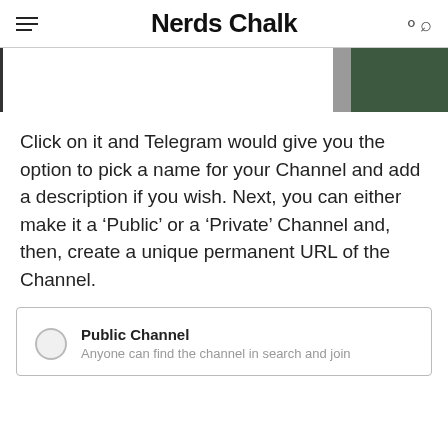Nerds Chalk
[Figure (screenshot): Partial screenshot showing a UI element with a dark green button on the right side]
Click on it and Telegram would give you the option to pick a name for your Channel and add a description if you wish. Next, you can either make it a ‘Public’ or a ‘Private’ Channel and, then, create a unique permanent URL of the Channel.
[Figure (screenshot): Screenshot of a Telegram channel creation screen showing a radio button option for 'Public Channel' with subtitle 'Anyone can find the channel in search and join']